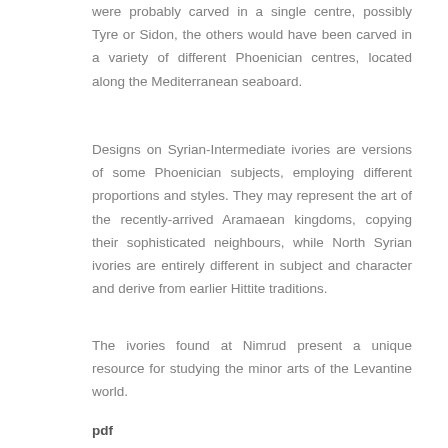were probably carved in a single centre, possibly Tyre or Sidon, the others would have been carved in a variety of different Phoenician centres, located along the Mediterranean seaboard.
Designs on Syrian-Intermediate ivories are versions of some Phoenician subjects, employing different proportions and styles. They may represent the art of the recently-arrived Aramaean kingdoms, copying their sophisticated neighbours, while North Syrian ivories are entirely different in subject and character and derive from earlier Hittite traditions.
The ivories found at Nimrud present a unique resource for studying the minor arts of the Levantine world.
pdf